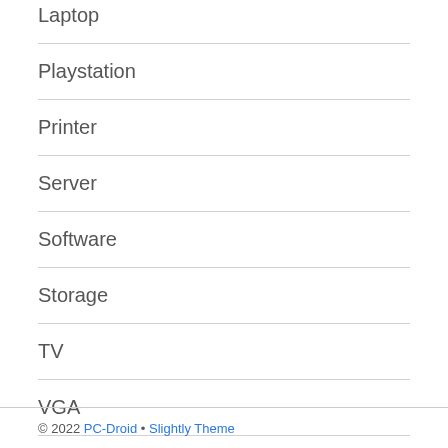Laptop
Playstation
Printer
Server
Software
Storage
TV
VGA
Video
© 2022 PC-Droid • Slightly Theme